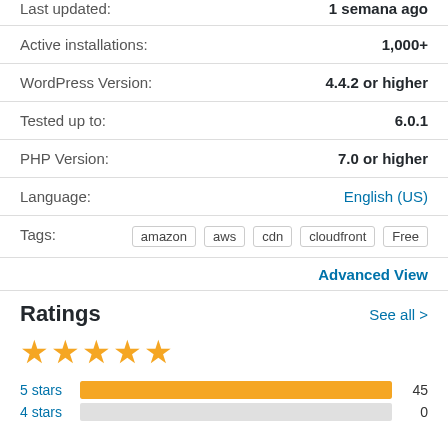Last updated: 1 semana ago
Active installations: 1,000+
WordPress Version: 4.4.2 or higher
Tested up to: 6.0.1
PHP Version: 7.0 or higher
Language: English (US)
Tags: amazon aws cdn cloudfront Free
Advanced View
Ratings
See all >
[Figure (other): 5 gold stars rating]
| Stars | Count |
| --- | --- |
| 5 stars | 45 |
| 4 stars | 0 |